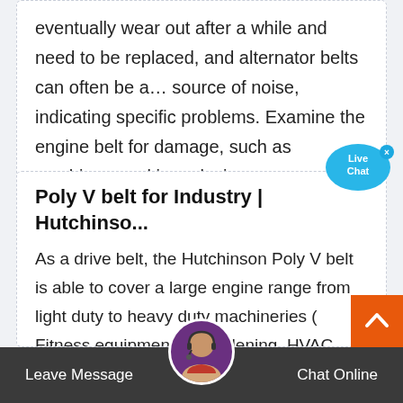eventually wear out after a while and need to be replaced, and alternator belts can often be a… source of noise, indicating specific problems. Examine the engine belt for damage, such as crushing, cracking, glazing, contamination of
Poly V belt for Industry | Hutchinso...
As a drive belt, the Hutchinson Poly V belt is able to cover a large engine range from light duty to heavy duty machineries ( Fitness equipment,… gardening, HVAC,  Industrial Engines,  Energy, Pumps, Mines and Quarries ). Compactness. The Poly V has been designed with a larger contact
[Figure (infographic): Live Chat speech bubble button in cyan/blue color with text 'Live Chat' and an X close button]
Leave Message   Chat Online